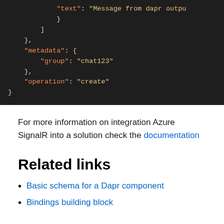[Figure (screenshot): Dark-themed code block showing JSON snippet with keys 'text', 'metadata', 'group', 'operation' and values 'Message from dapr outpu...', 'chat123', 'create']
For more information on integration Azure SignalR into a solution check the documentation
Related links
Basic schema for a Dapr component
Bindings building block